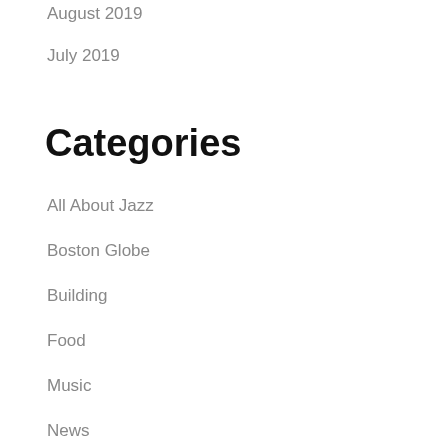August 2019
July 2019
Categories
All About Jazz
Boston Globe
Building
Food
Music
News
NH Magazine
PR Newswire
Press Releases
Today in Music History